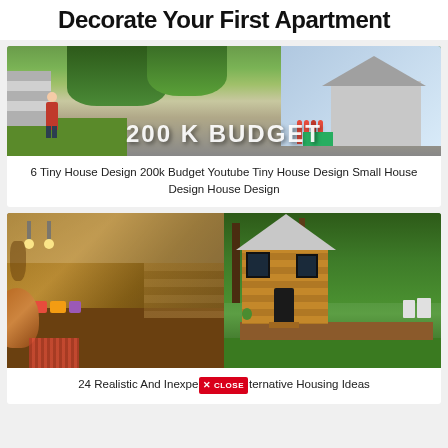Decorate Your First Apartment
[Figure (photo): Outdoor tiny house scene with person on steps, text overlay reading 200 K BUDGET, and modern house with tulips in background]
6 Tiny House Design 200k Budget Youtube Tiny House Design Small House Design House Design
[Figure (photo): Two side-by-side photos: left shows tiny house interior with cozy bed area and pendant lights, right shows exterior of small wooden cabin in forest setting]
24 Realistic And Inexpe[CLOSE]ternative Housing Ideas